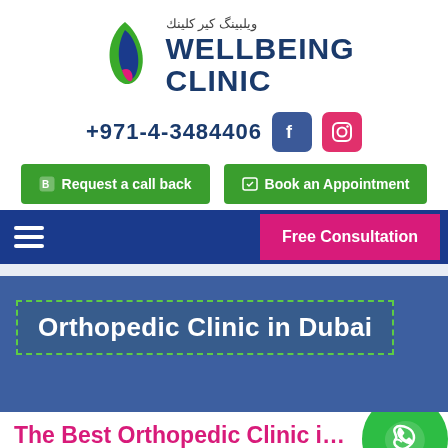[Figure (logo): Wellbeing Clinic logo with Arabic text above and English text WELLBEING CLINIC, with a stylized leaf/feather SVG icon in green, blue, and pink]
+971-4-3484406
[Figure (logo): Facebook icon (blue square rounded)]
[Figure (logo): Instagram icon (red/pink square rounded)]
Request a call back
Book an Appointment
Free Consultation
Orthopedic Clinic in Dubai
The Best Orthopedic Clinic in Dub...
[Figure (logo): WhatsApp green circle icon with phone handset in white]